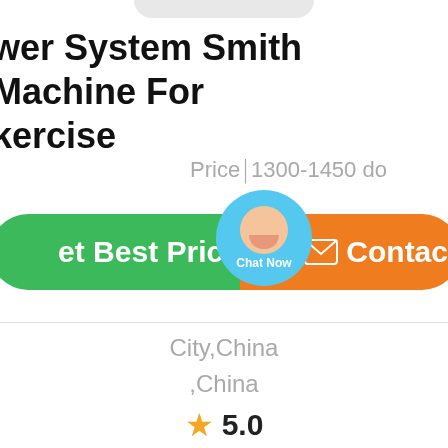wer System Smith Machine For kercise
Price￨1300-1450 do
[Figure (screenshot): Green 'Get Best Price' button and orange 'Contact' button with a 'Chat Now' circular chat bubble overlay in the center]
City,China
,China
★ 5.0